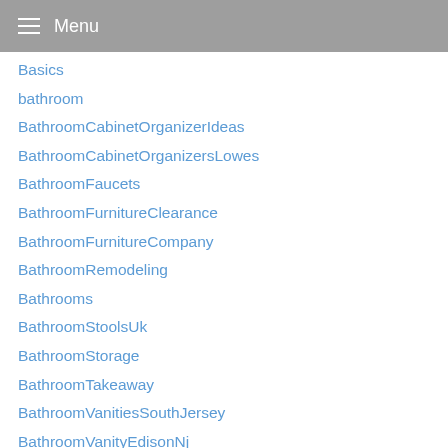Menu
Basics
bathroom
BathroomCabinetOrganizerIdeas
BathroomCabinetOrganizersLowes
BathroomFaucets
BathroomFurnitureClearance
BathroomFurnitureCompany
BathroomRemodeling
Bathrooms
BathroomStoolsUk
BathroomStorage
BathroomTakeaway
BathroomVanitiesSouthJersey
BathroomVanityEdisonNj
Bathtub
BatteryOperatedClockMovements
BatteryOperatedClockRunsBackwards